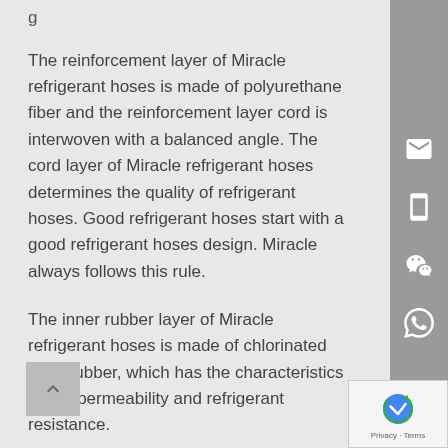g
The reinforcement layer of Miracle refrigerant hoses is made of polyurethane fiber and the reinforcement layer cord is interwoven with a balanced angle. The cord layer of Miracle refrigerant hoses determines the quality of refrigerant hoses. Good refrigerant hoses start with a good refrigerant hoses design. Miracle always follows this rule.
The inner rubber layer of Miracle refrigerant hoses is made of chlorinated butyl rubber, which has the characteristics of low permeability and refrigerant resistance.